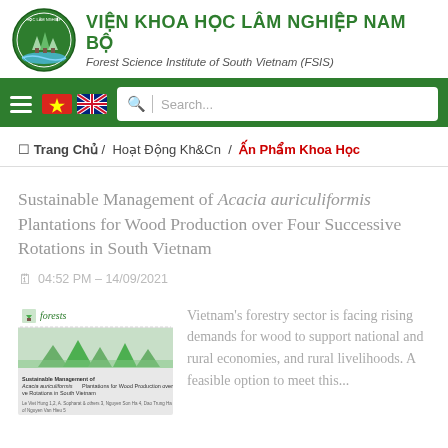VIỆN KHOA HỌC LÂM NGHIỆP NAM BỘ
Forest Science Institute of South Vietnam (FSIS)
[Figure (logo): Circular logo of the Forest Science Institute of South Vietnam with trees and water imagery]
☰  🇻🇳  🇬🇧   🔍 | Search...
🏠 Trang Chủ / Hoạt Động Kh&Cn / Ấn Phẩm Khoa Học
Sustainable Management of Acacia auriculiformis Plantations for Wood Production over Four Successive Rotations in South Vietnam
04:52 PM – 14/09/2021
[Figure (screenshot): Thumbnail image of the journal article cover from Forests journal showing the article title and authors]
Vietnam's forestry sector is facing rising demands for wood to support national and rural economies, and rural livelihoods. A feasible option to meet this...